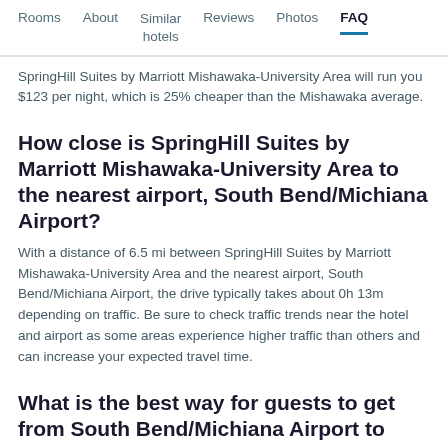Rooms | About | Similar hotels | Reviews | Photos | FAQ
SpringHill Suites by Marriott Mishawaka-University Area will run you $123 per night, which is 25% cheaper than the Mishawaka average.
How close is SpringHill Suites by Marriott Mishawaka-University Area to the nearest airport, South Bend/Michiana Airport?
With a distance of 6.5 mi between SpringHill Suites by Marriott Mishawaka-University Area and the nearest airport, South Bend/Michiana Airport, the drive typically takes about 0h 13m depending on traffic. Be sure to check traffic trends near the hotel and airport as some areas experience higher traffic than others and can increase your expected travel time.
What is the best way for guests to get from South Bend/Michiana Airport to SpringHill